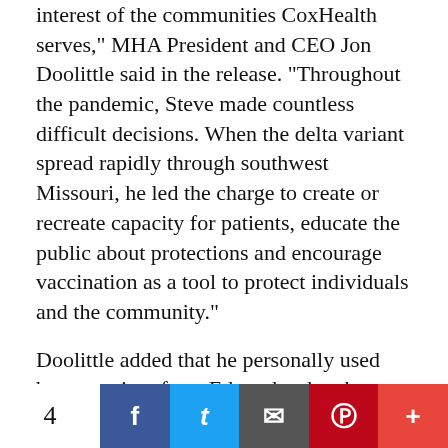interest of the communities CoxHealth serves," MHA President and CEO Jon Doolittle said in the release. "Throughout the pandemic, Steve made countless difficult decisions. When the delta variant spread rapidly through southwest Missouri, he led the charge to create or recreate capacity for patients, educate the public about protections and encourage vaccination as a tool to protect individuals and the community."
Doolittle added that he personally used best practices from Edwards when he was CEO of a Mosaic Medical Center in Missouri before joining the MHA.
4